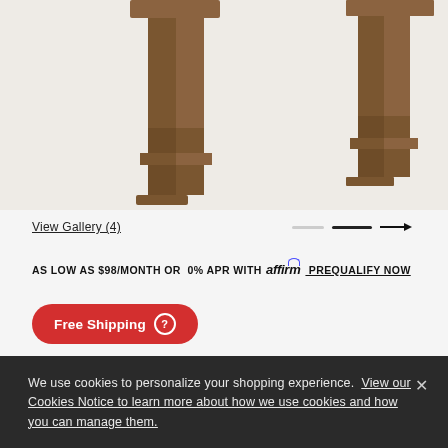[Figure (photo): Partial view of a wooden dining table with block-style legs in Sienna finish, photographed from below/side angle on light grey background]
View Gallery (4)
AS LOW AS $98/MONTH OR 0% APR WITH affirm PREQUALIFY NOW
Free Shipping ?
1  Finish
Sienna
We use cookies to personalize your shopping experience. View our Cookies Notice to learn more about how we use cookies and how you can manage them.